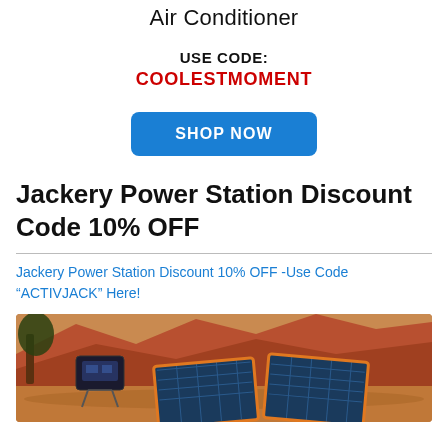Air Conditioner
USE CODE:
COOLESTMOMENT
SHOP NOW
Jackery Power Station Discount Code 10% OFF
Jackery Power Station Discount 10% OFF -Use Code “ACTIVJACK” Here!
[Figure (photo): Jackery power station and solar panels in an outdoor desert setting with red rock formations in the background]